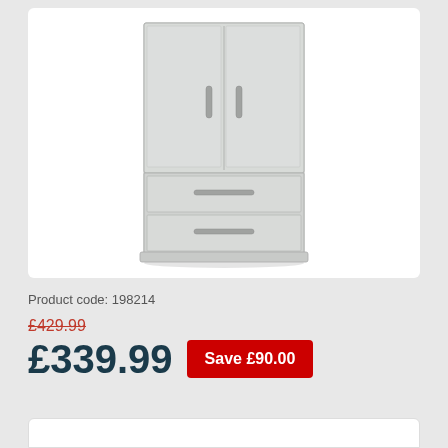[Figure (photo): A light grey wardrobe with two upper doors and two lower drawers, each with silver bar handles]
Product code: 198214
£429.99 (strikethrough original price)
£339.99
Save £90.00